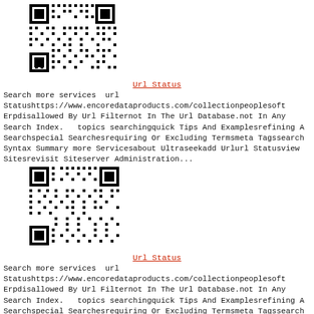[Figure (other): QR code image, black and white, square]
Url Status
Search more services  url Statushttps://www.encoredataproducts.com/collectionpeoplesoft Erpdisallowed By Url Filternot In The Url Database.not In Any Search Index.   topics searchingquick Tips And Examplesrefining A Searchspecial Searchesrequiring Or Excluding Termsmeta Tagssearch Syntax Summary more Servicesabout Ultraseekadd Urlurl Statusview Sitesrevisit Siteserver Administration...
[Figure (other): QR code image, black and white, square]
Url Status
Search more services  url Statushttps://www.encoredataproducts.com/collectionpeoplesoft Erpdisallowed By Url Filternot In The Url Database.not In Any Search Index.   topics searchingquick Tips And Examplesrefining A Searchspecial Searchesrequiring Or Excluding Termsmeta Tagssearch Syntax Summary more Servicesabout Ultraseekadd Urlurl Statusview Sitesrevisit Siteserver Administration...